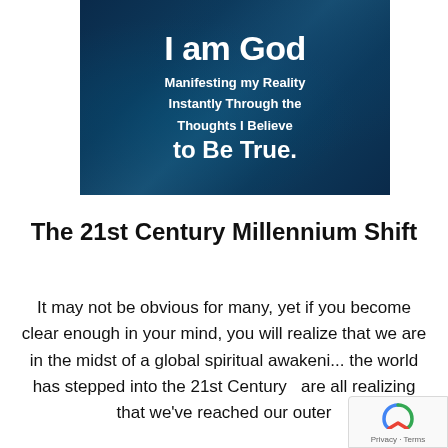[Figure (illustration): Dark blue textured background image with white bold text reading: 'I am God / Manifesting my Reality / Instantly Through the / Thoughts I Believe / to Be True.']
The 21st Century Millennium Shift
It may not be obvious for many, yet if you become clear enough in your mind, you will realize that we are in the midst of a global spiritual awakeni... the world has stepped into the 21st Century ... are all realizing that we've reached our outer